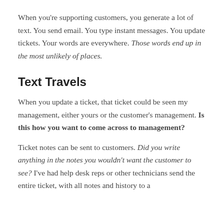When you're supporting customers, you generate a lot of text. You send email. You type instant messages. You update tickets. Your words are everywhere. Those words end up in the most unlikely of places.
Text Travels
When you update a ticket, that ticket could be seen my management, either yours or the customer's management. Is this how you want to come across to management?
Ticket notes can be sent to customers. Did you write anything in the notes you wouldn't want the customer to see? I've had help desk reps or other technicians send the entire ticket, with all notes and history to a